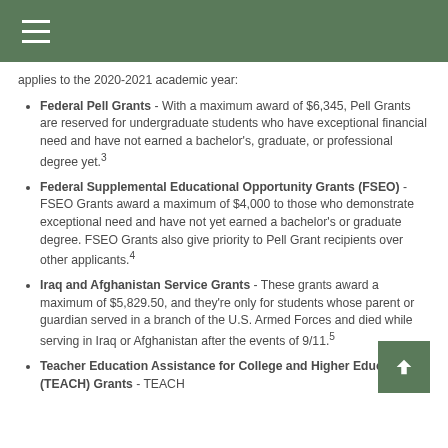applies to the 2020-2021 academic year:
Federal Pell Grants - With a maximum award of $6,345, Pell Grants are reserved for undergraduate students who have exceptional financial need and have not earned a bachelor's, graduate, or professional degree yet.3
Federal Supplemental Educational Opportunity Grants (FSEO) - FSEO Grants award a maximum of $4,000 to those who demonstrate exceptional need and have not yet earned a bachelor's or graduate degree. FSEO Grants also give priority to Pell Grant recipients over other applicants.4
Iraq and Afghanistan Service Grants - These grants award a maximum of $5,829.50, and they're only for students whose parent or guardian served in a branch of the U.S. Armed Forces and died while serving in Iraq or Afghanistan after the events of 9/11.5
Teacher Education Assistance for College and Higher Education (TEACH) Grants - TEACH